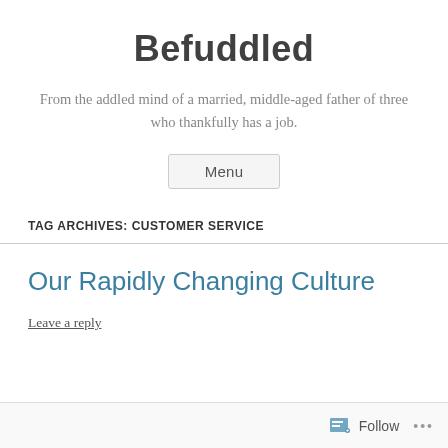Befuddled
From the addled mind of a married, middle-aged father of three who thankfully has a job.
Menu
TAG ARCHIVES: CUSTOMER SERVICE
Our Rapidly Changing Culture
Leave a reply
Follow ...